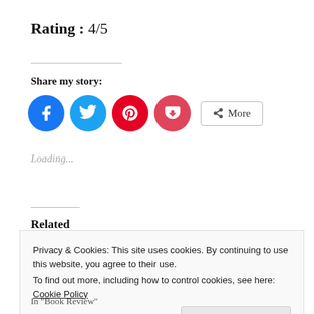Rating : 4/5
Share my story:
[Figure (infographic): Social share buttons: Facebook (blue circle), Twitter (blue circle), Pinterest (red circle), Pocket (pink-red circle), and a More button with share icon]
Loading...
Related
Privacy & Cookies: This site uses cookies. By continuing to use this website, you agree to their use.
To find out more, including how to control cookies, see here: Cookie Policy
Close and accept
In "Book Review"